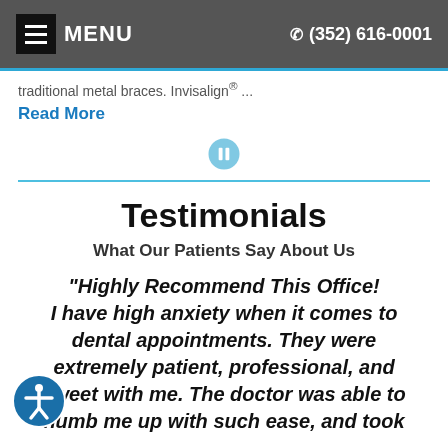MENU  (352) 616-0001
traditional metal braces. Invisalign® ...
Read More
Testimonials
What Our Patients Say About Us
"Highly Recommend This Office! I have high anxiety when it comes to dental appointments. They were extremely patient, professional, and sweet with me. The doctor was able to numb me up with such ease, and took